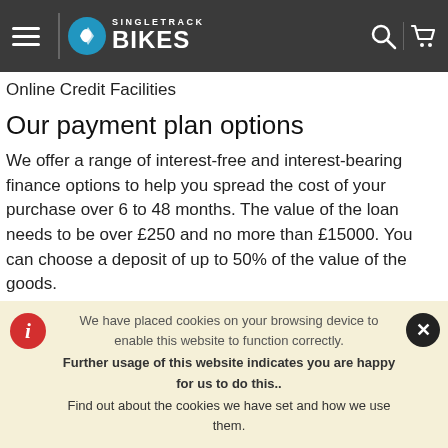Singletrack Bikes
Online Credit Facilities
Our payment plan options
We offer a range of interest-free and interest-bearing finance options to help you spread the cost of your purchase over 6 to 48 months. The value of the loan needs to be over £250 and no more than £15000. You can choose a deposit of up to 50% of the value of the goods.
Some finance options will not be available across all products or
We have placed cookies on your browsing device to enable this website to function correctly.
Further usage of this website indicates you are happy for us to do this..
Find out about the cookies we have set and how we use them.